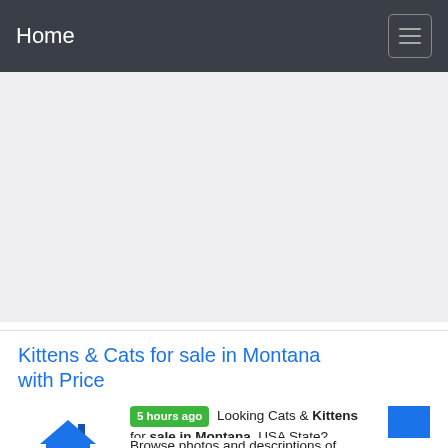Home
[Figure (other): Gray advertisement placeholder area]
Kittens & Cats for sale in Montana with Price
[Figure (logo): House logo with blue roof and gold wave]
5 hours ago  Looking Cats & Kittens for sale in Montana, USA State? Browse photos and descriptions of